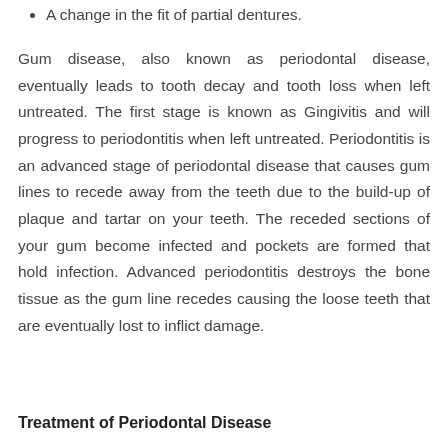A change in the fit of partial dentures.
Gum disease, also known as periodontal disease, eventually leads to tooth decay and tooth loss when left untreated. The first stage is known as Gingivitis and will progress to periodontitis when left untreated. Periodontitis is an advanced stage of periodontal disease that causes gum lines to recede away from the teeth due to the build-up of plaque and tartar on your teeth. The receded sections of your gum become infected and pockets are formed that hold infection. Advanced periodontitis destroys the bone tissue as the gum line recedes causing the loose teeth that are eventually lost to inflict damage.
Treatment of Periodontal Disease